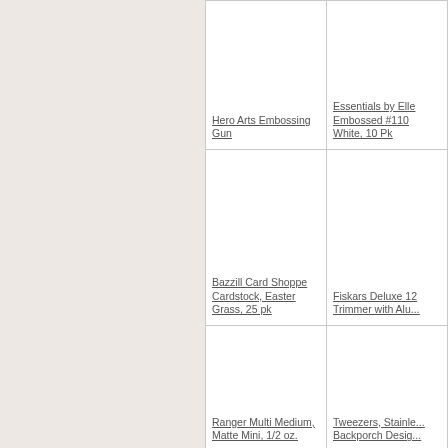| Hero Arts Embossing Gun | Essentials by Elle Embossed #110 White, 10 Pk |
| Bazzill Card Shoppe Cardstock, Easter Grass, 25 pk | Fiskars Deluxe 12 Trimmer with Alu... |
| Ranger Multi Medium, Matte Mini, 1/2 oz. | Tweezers, Stainle... Backporch Desig... |